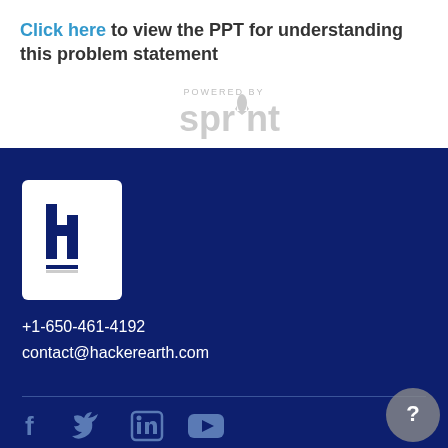Click here to view the PPT for understanding this problem statement
[Figure (logo): POWERED BY sprint logo in light gray]
[Figure (logo): HackerEarth logo - white h in a white rounded square on dark blue background]
+1-650-461-4192
contact@hackerearth.com
[Figure (other): Social media icons: Facebook, Twitter, LinkedIn, YouTube on dark blue footer bar]